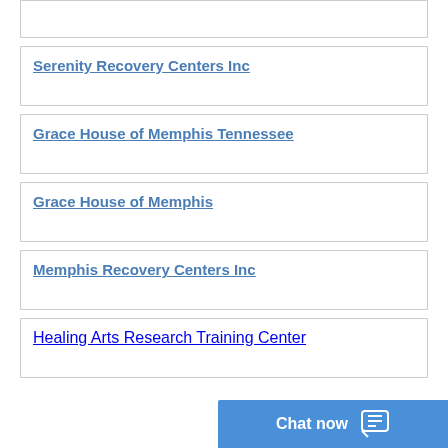Serenity Recovery Centers Inc
Grace House of Memphis Tennessee
Grace House of Memphis
Memphis Recovery Centers Inc
Healing Arts Research Training Center